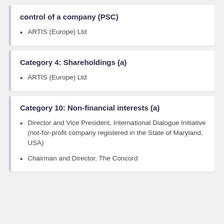control of a company (PSC)
ARTIS (Europe) Ltd
Category 4: Shareholdings (a)
ARTIS (Europe) Ltd
Category 10: Non-financial interests (a)
Director and Vice President, International Dialogue Initiative (not-for-profit company registered in the State of Maryland, USA)
Chairman and Director, The Concord